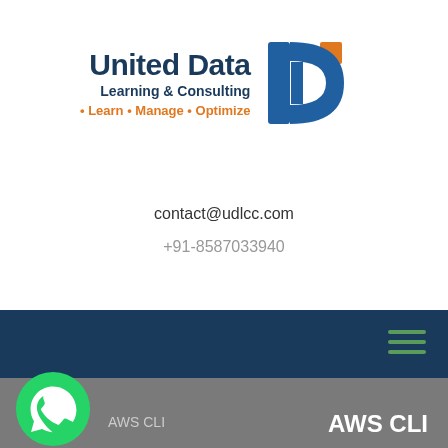[Figure (logo): United Data Learning & Consulting logo with blue D-shaped icon and orange square accent. Text reads 'United Data' in bold dark blue, 'Learning & Consulting' below, and '• Learn • Manage • Optimize' in orange.]
contact@udlcc.com
+91-8587033940
[Figure (other): Dark navy navigation bar with hamburger menu icon (three horizontal green lines) on the right side.]
[Figure (other): Gray background section with WhatsApp circular green icon on the left, 'AWS CLI' breadcrumb text in light gray, and 'AWS CLI' bold white title on the right.]